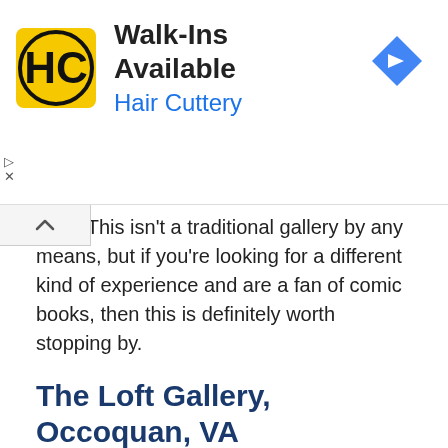[Figure (other): Hair Cuttery advertisement banner with logo, 'Walk-Ins Available' text, and navigation arrow icon]
ered. This isn't a traditional gallery by any means, but if you're looking for a different kind of experience and are a fan of comic books, then this is definitely worth stopping by.
The Loft Gallery, Occoquan, VA
Twenty permanent artists call The Loft Gallery in Occoquan, Virginia, home. This co-op has showcased watercolors, oils, pastels, acrylics, original prints, collagraphs, lithographs, stained glass, and more for over thirty years. Each of the artists brings with them a unique style. The Loft hasn't gone unnoticed: It has